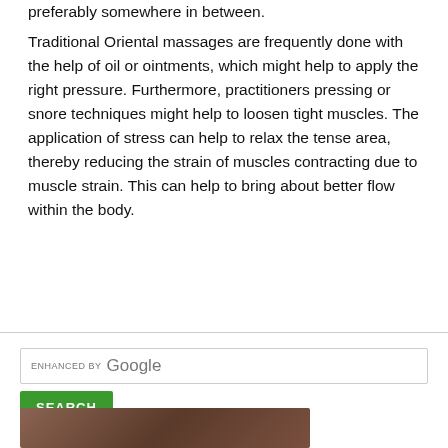preferably somewhere in between.
Traditional Oriental massages are frequently done with the help of oil or ointments, which might help to apply the right pressure. Furthermore, practitioners pressing or snore techniques might help to loosen tight muscles. The application of stress can help to relax the tense area, thereby reducing the strain of muscles contracting due to muscle strain. This can help to bring about better flow within the body.
[Figure (other): Google enhanced search bar with a green SEARCH button below it]
[Figure (photo): Partial photo of a person, cropped at bottom of page]